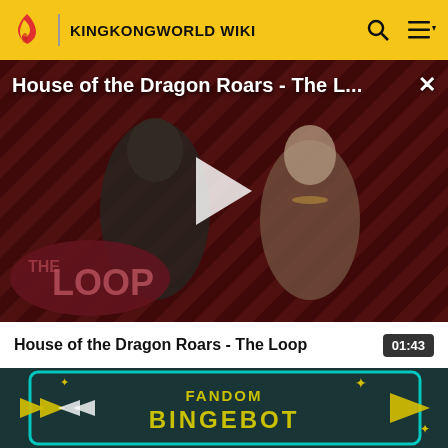KINGKONGWORLD WIKI
[Figure (screenshot): Video player showing 'House of the Dragon Roars - The L...' with play button overlay, THE LOOP branding, diagonal red/black stripe background with two characters visible]
House of the Dragon Roars - The Loop
[Figure (screenshot): Thumbnail showing FANDOM BINGEBOT branding on teal/dark background with yellow arrow graphics]